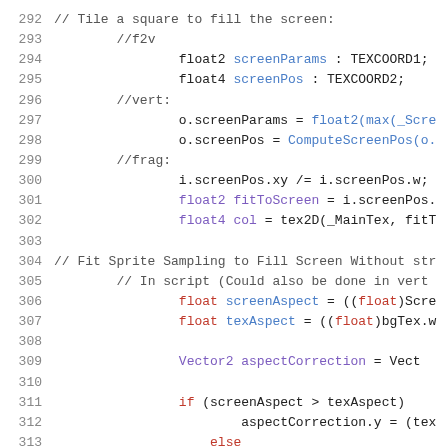Code listing lines 292-313, shader/script code snippet